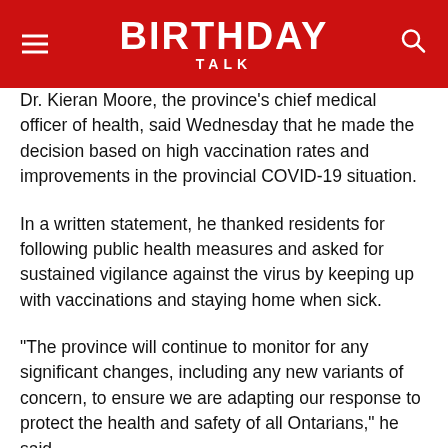BIRTHDAY TALK
Dr. Kieran Moore, the province's chief medical officer of health, said Wednesday that he made the decision based on high vaccination rates and improvements in the provincial COVID-19 situation.
In a written statement, he thanked residents for following public health measures and asked for sustained vigilance against the virus by keeping up with vaccinations and staying home when sick.
“The province will continue to monitor for any significant changes, including any new variants of concern, to ensure we are adapting our response to protect the health and safety of all Ontarians,” he said.
Rules requiring that people wear masks on public transit and most health-care settings will expire at 12:00 a.m. on Saturday. Mask requirements lifted in most other settings in March, along with essentially all other public health measures aimed at stemming the spread of COVID-19 in the province.